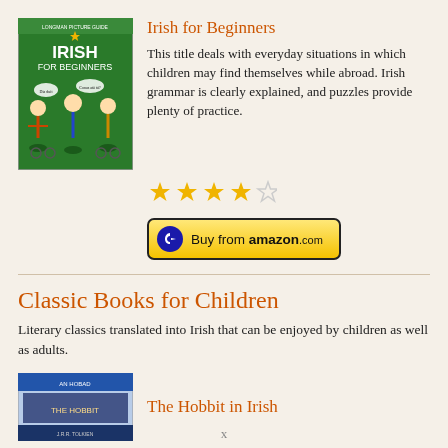[Figure (illustration): Book cover for 'Irish for Beginners' with green background, title text, and cartoon illustration of people]
Irish for Beginners
This title deals with everyday situations in which children may find themselves while abroad. Irish grammar is clearly explained, and puzzles provide plenty of practice.
[Figure (infographic): 4 out of 5 stars rating]
[Figure (logo): Buy from amazon.com button]
Classic Books for Children
Literary classics translated into Irish that can be enjoyed by children as well as adults.
[Figure (illustration): Book cover thumbnail for The Hobbit in Irish]
The Hobbit in Irish